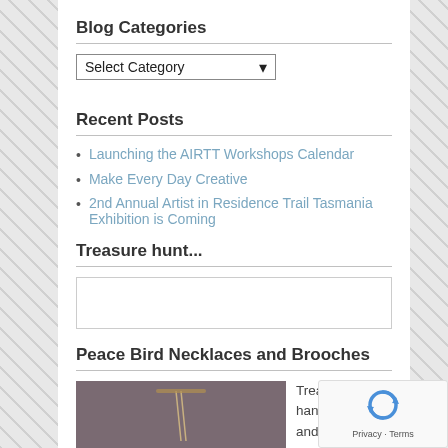Blog Categories
[Figure (screenshot): Dropdown widget showing 'Select Category' with a downward arrow]
Recent Posts
Launching the AIRTT Workshops Calendar
Make Every Day Creative
2nd Annual Artist in Residence Trail Tasmania Exhibition is Coming
Treasure hunt...
[Figure (screenshot): Empty search input box]
Peace Bird Necklaces and Brooches
[Figure (photo): Photo of necklace on dark fabric background]
Treas... handm... and peace